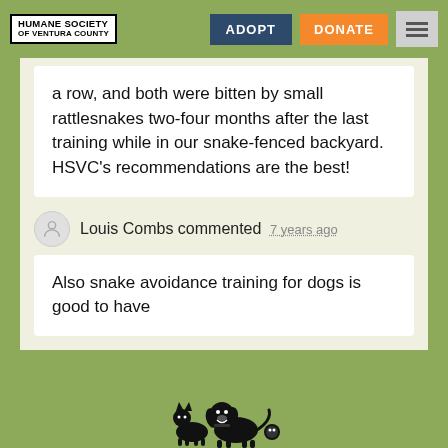HUMANE SOCIETY OF VENTURA COUNTY | ADOPT | DONATE
a row, and both were bitten by small rattlesnakes two-four months after the last training while in our snake-fenced backyard. HSVC's recommendations are the best!
Louis Combs commented 7 years ago
Also snake avoidance training for dogs is good to have